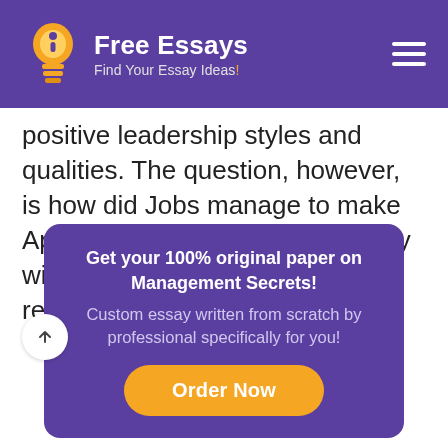Free Essays – Find Your Essay Ideas!
positive leadership styles and qualities. The question, however, is how did Jobs manage to make Apple Inc. the company it is today with all these negative traits reflected in leadership style?
Get your 100% original paper on Management Secrets! Custom essay written from scratch by professional specifically for you!
[Figure (other): Order Now button (orange rounded button)]